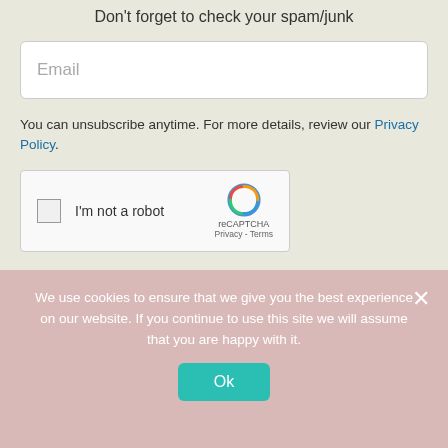Don't forget to check your spam/junk
Email
You can unsubscribe anytime. For more details, review our Privacy Policy.
[Figure (other): reCAPTCHA widget with checkbox labeled I'm not a robot]
Yayyy..Send me the worksheets
We use cookies to ensure that we give you the best experience on our website. If you continue to use this site we will assume that you are happy with it.
Ok